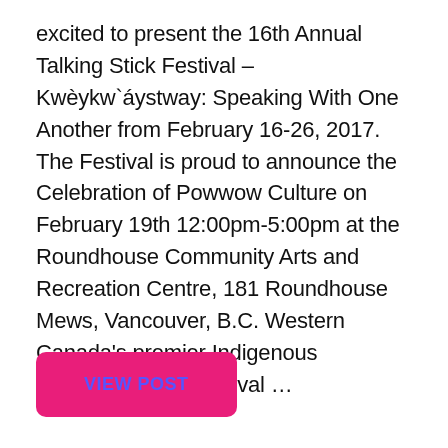excited to present the 16th Annual Talking Stick Festival – Kwèykw`áystway: Speaking With One Another from February 16-26, 2017. The Festival is proud to announce the Celebration of Powwow Culture on February 19th 12:00pm-5:00pm at the Roundhouse Community Arts and Recreation Centre, 181 Roundhouse Mews, Vancouver, B.C. Western Canada's premier Indigenous Performing Arts Festival …
VIEW POST